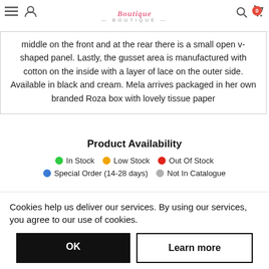Boutique — navigation header with logo, menu, account, search, cart icons
middle on the front and at the rear there is a small open v-shaped panel. Lastly, the gusset area is manufactured with cotton on the inside with a layer of lace on the outer side. Available in black and cream. Mela arrives packaged in her own branded Roza box with lovely tissue paper
Product Availability
In Stock  Low Stock  Out Of Stock  Special Order (14-28 days)  Not In Catalogue
Cookies help us deliver our services. By using our services, you agree to our use of cookies.
OK  Learn more